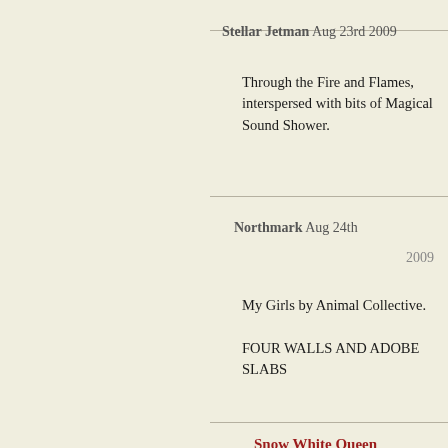Stellar Jetman Aug 23rd 2009
Through the Fire and Flames, interspersed with bits of Magical Sound Shower.
Northmark Aug 24th 2009
My Girls by Animal Collective.
FOUR WALLS AND ADOBE SLABS
Snow White Queen